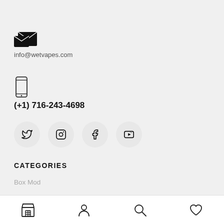[Figure (illustration): Email/message icon — two overlapping envelope shapes in black]
info@wetvapes.com
[Figure (illustration): Mobile phone / smartphone icon outline]
(+1) 716-243-4698
[Figure (illustration): Social media icons row: Twitter (bird), Instagram, Facebook (f), YouTube]
CATEGORIES
Box Mod
[Figure (illustration): Bottom navigation bar with store, account, search, and heart/wishlist icons]